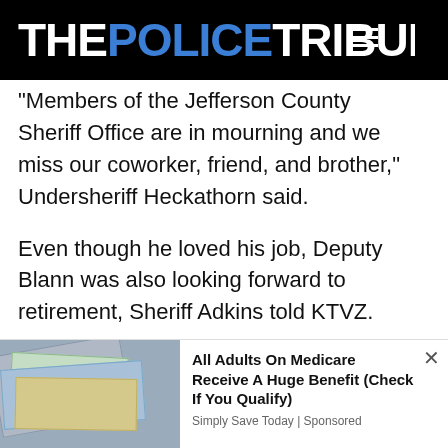THE POLICE TRIBUNE
“Members of the Jefferson County Sheriff Office are in mourning and we miss our coworker, friend, and brother,” Undersheriff Heckathorn said.
Even though he loved his job, Deputy Blann was also looking forward to retirement, Sheriff Adkins told KTVZ.
“He actually was in my office last week,
[Figure (photo): Photo of papers and money, part of an advertisement]
All Adults On Medicare Receive A Huge Benefit (Check If You Qualify)
Simply Save Today | Sponsored